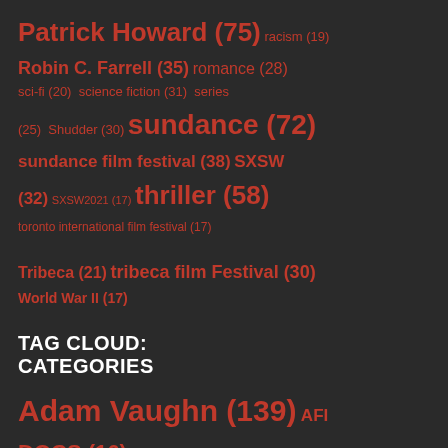Patrick Howard (75) racism (19) Robin C. Farrell (35) romance (28) sci-fi (20) science fiction (31) series (25) Shudder (30) sundance (72) sundance film festival (38) SXSW (32) SXSW2021 (17) thriller (58) toronto international film festival (17) Tribeca (21) tribeca film festival (30) World War II (17)
TAG CLOUD: CATEGORIES
Adam Vaughn (139) AFI DOCS (16) Annapolis Film Festival (4) Austin Film Festival (3) Berlin International Film Festival (15)